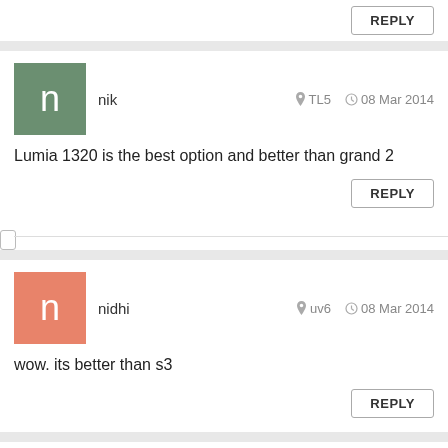REPLY
nik · TL5 · 08 Mar 2014
Lumia 1320 is the best option and better than grand 2
REPLY
nidhi · uv6 · 08 Mar 2014
wow. its better than s3
REPLY
Anonymous · 6lW · 08 Mar 2014